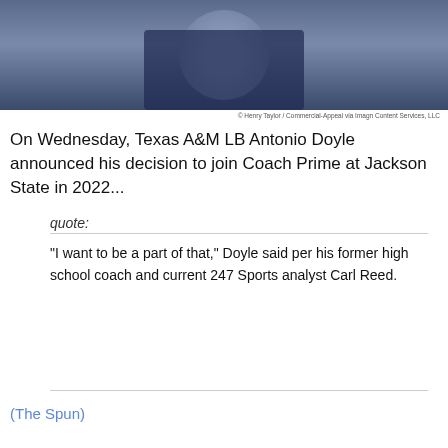[Figure (photo): A person wearing a navy blue JSU (Jackson State University) shirt and chain necklace, photographed outdoors]
© Henry Taylor / Commercial-Appeal via Imagn Content Services, LLC
On Wednesday, Texas A&M LB Antonio Doyle announced his decision to join Coach Prime at Jackson State in 2022...
quote:
“I want to be a part of that,” Doyle said per his former high school coach and current 247 Sports analyst Carl Reed.
(The Spun)